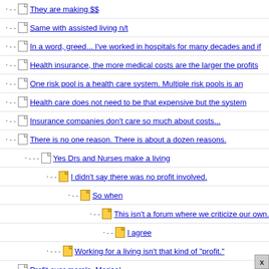They are making $$
Same with assisted living n/t
In a word, greed... I've worked in hospitals for many decades and if
Health insurance, the more medical costs are the larger the profits
One risk pool is a health care system. Multiple risk pools is an
Health care does not need to be that expensive but the system
Insurance companies don't care so much about costs...
There is no one reason. There is about a dozen reasons.
Yes Drs and Nurses make a living
I didn't say there was no profit involved.
So when
This isn't a forum where we criticize our own.
I agree
Working for a living isn't that kind of "profit."
Profit over morals. Merica!
There is also a need to overhaul our nutritional guidance.
We were told again and again that we "don't want socialized
They had arguments
I traveled to Europe each year for 10 consecutive years to
Shareholders are the 21st century gods. And we continue to sacrifi